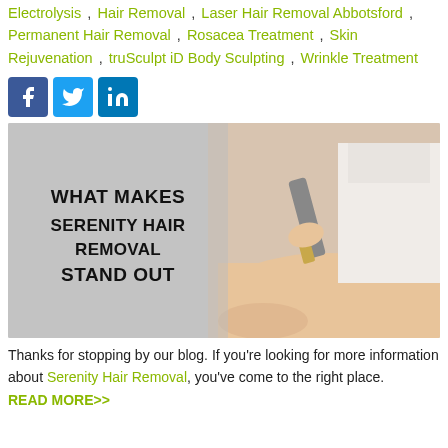Electrolysis , Hair Removal , Laser Hair Removal Abbotsford , Permanent Hair Removal , Rosacea Treatment , Skin Rejuvenation , truSculpt iD Body Sculpting , Wrinkle Treatment
[Figure (other): Social media share icons: Facebook (blue), Twitter (light blue), LinkedIn (blue)]
[Figure (photo): Promotional image with text 'WHAT MAKES SERENITY HAIR REMOVAL STAND OUT' overlaid on a grey/beige background showing a medical professional using a laser hair removal device on a patient's leg]
Thanks for stopping by our blog. If you're looking for more information about Serenity Hair Removal, you've come to the right place.
READ MORE>>